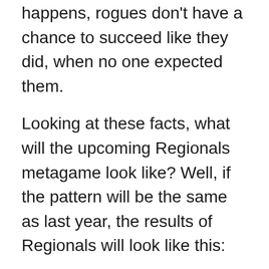happens, rogues don't have a chance to succeed like they did, when no one expected them.
Looking at these facts, what will the upcoming Regionals metagame look like? Well, if the pattern will be the same as last year, the results of Regionals will look like this:
3× Eelektrik/Zekrom variants
3× Celebi/Mewtwo variants